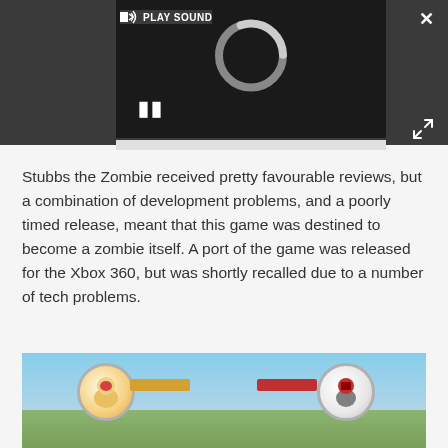[Figure (screenshot): Video player overlay with dark background showing a loading spinner (circular arrow), pause button (two vertical bars), PLAY SOUND button with speaker icon, close X button, expand arrows button, and a progress bar at bottom.]
Stubbs the Zombie received pretty favourable reviews, but a combination of development problems, and a poorly timed release, meant that this game was destined to become a zombie itself. A port of the game was released for the Xbox 360, but was shortly recalled due to a number of tech problems.
[Figure (screenshot): Game screenshot showing two character circles (health/character indicators) connected by colored bars against a background of trees, sky, and green landscape. Left circle shows a character in yellow/red outfit, right circle shows a red character. Health bars extend from each circle.]